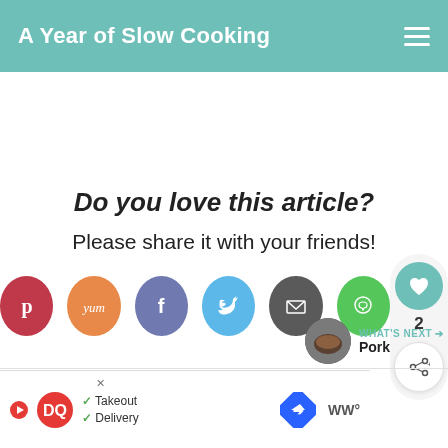A Year of Slow Cooking
Do you love this article?
Please share it with your friends!
[Figure (infographic): Row of social share buttons: Pinterest (red), Yum (orange), Facebook (purple-blue), Twitter (light blue), Email (dark gray), WhatsApp (green). Floating panel on right with heart/like icon showing count 2 and share icon.]
[Figure (photo): What's Next section: circular thumbnail of pork dish with label WHAT'S NEXT and text 'Pork']
WHAT'S NEXT → Pork
[Figure (infographic): Advertisement banner: Dairy Queen logo with Takeout and Delivery checkmarks, DQ diamond arrow logo, and WW brand icon]